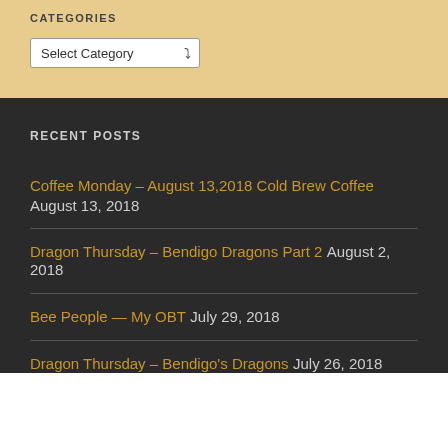CATEGORIES
Select Category
RECENT POSTS
Coffee Monday – August 13,2018 Cold Brew Coffee August 13, 2018
Dragon Thursday – Bendigo Dragons Part 2 August 2, 2018
Bee People — My OBT July 29, 2018
Dragon Thursday – Bendigo's Dragons July 26, 2018